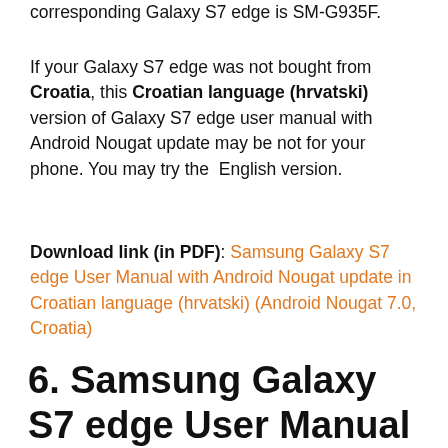corresponding Galaxy S7 edge is SM-G935F.
If your Galaxy S7 edge was not bought from Croatia, this Croatian language (hrvatski) version of Galaxy S7 edge user manual with Android Nougat update may be not for your phone. You may try the English version.
Download link (in PDF): Samsung Galaxy S7 edge User Manual with Android Nougat update in Croatian language (hrvatski) (Android Nougat 7.0, Croatia)
6. Samsung Galaxy S7 edge User Manual with Android Nougat update in Czech language (čeština